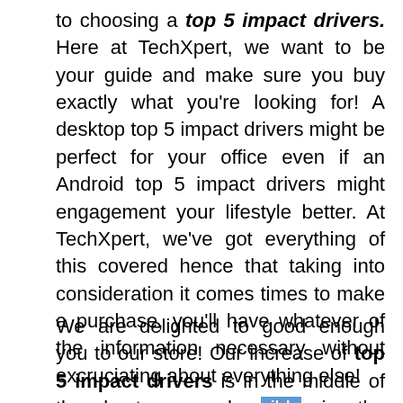to choosing a top 5 impact drivers. Here at TechXpert, we want to be your guide and make sure you buy exactly what you're looking for! A desktop top 5 impact drivers might be perfect for your office even if an Android top 5 impact drivers might engagement your lifestyle better. At TechXpert, we've got everything of this covered hence that taking into consideration it comes times to make a purchase, you'll have whatever of the information necessary without excruciating about everything else!
We are delighted to good enough you to our store! Our increase of top 5 impact drivers is in the middle of the best comprehensible in the market. Whatever you're looking for – a smooth design or affordable price tag...